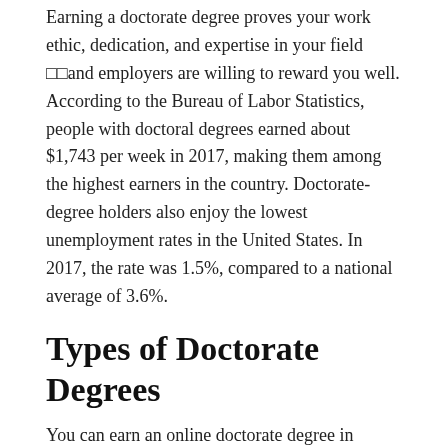Earning a doctorate degree proves your work ethic, dedication, and expertise in your field and employers are willing to reward you well. According to the Bureau of Labor Statistics, people with doctoral degrees earned about $1,743 per week in 2017, making them among the highest earners in the country. Doctorate-degree holders also enjoy the lowest unemployment rates in the United States. In 2017, the rate was 1.5%, compared to a national average of 3.6%.
Types of Doctorate Degrees
You can earn an online doctorate degree in virtually any field of study. Doctorates, like master's degrees, are highly specialized. Usually, as you complete your doctorate degree, you will focus on a specialized area of research within your chosen field.
Fields with positions that are totally or in some cases based